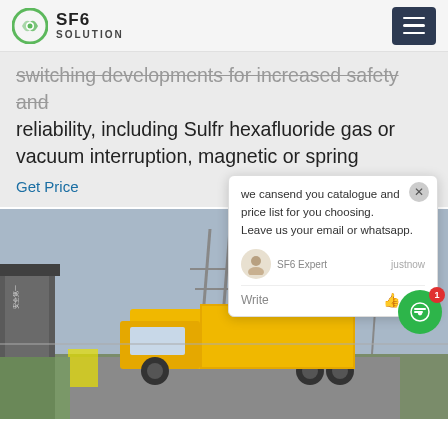SF6 SOLUTION
switching developments for increased safety and reliability, including Sulfr hexafluoride gas or vacuum interruption, magnetic or spring
Get Price
[Figure (photo): Yellow truck at an electrical substation facility with tall transmission towers in the background]
we cansend you catalogue and price list for you choosing. Leave us your email or whatsapp.
SF6 Expert   justnow
Write